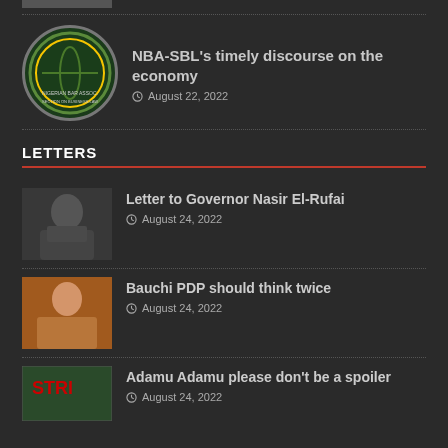[Figure (photo): Partial top strip — logo/image cropped at top]
NBA-SBL's timely discourse on the economy
August 22, 2022
LETTERS
Letter to Governor Nasir El-Rufai
August 24, 2022
Bauchi PDP should think twice
August 24, 2022
Adamu Adamu please don't be a spoiler
August 24, 2022